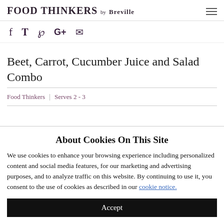FOOD THINKERS by Breville
f  ✦  ✦  G+  ✉
Beet, Carrot, Cucumber Juice and Salad Combo
Food Thinkers  |  Serves 2 - 3
About Cookies On This Site
We use cookies to enhance your browsing experience including personalized content and social media features, for our marketing and advertising purposes, and to analyze traffic on this website. By continuing to use it, you consent to the use of cookies as described in our cookie notice.
Accept